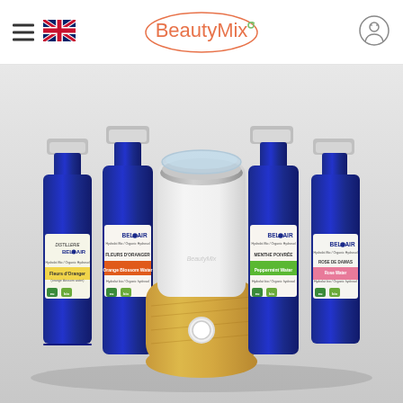BeautyMix navigation header with hamburger menu, UK flag, BeautyMix logo, and user account icon
[Figure (photo): Product photo showing four dark blue glass bottles of BEL AIR organic hydrosols (floral waters) by Bel Air Distillerie, arranged around a BeautyMix white and wood-tone electric appliance/diffuser in the center. Bottles have white labels with colored bands: yellow, orange/red, green, and pink. The background is light grey.]